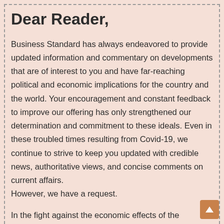Dear Reader,
Business Standard has always endeavored to provide updated information and commentary on developments that are of interest to you and have far-reaching political and economic implications for the country and the world. Your encouragement and constant feedback to improve our offering has only strengthened our determination and commitment to these ideals. Even in these troubled times resulting from Covid-19, we continue to strive to keep you updated with credible news, authoritative views, and concise comments on current affairs.
However, we have a request.
In the fight against the economic effects of the pandemic, we need your support even more so that we can continue to offer you high-quality content. Our subscription model has received an encouraging response from many of you who have subscribed to our premium content. More subscriptions…